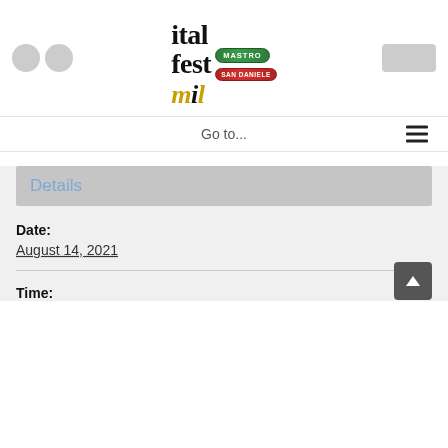[Figure (logo): ItalFest Montreal logo with Mastro and San Daniele brand badges, flanked by social media icon placeholders and a partner logo placeholder]
Go to...
Details
Date:
August 14, 2021
Time: